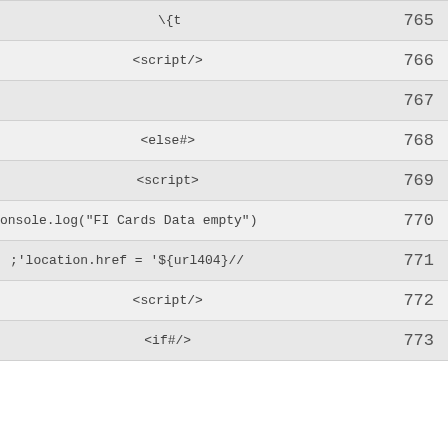| code | line |
| --- | --- |
| \{t | 765 |
| <script/> | 766 |
|  | 767 |
| <else#> | 768 |
| <script> | 769 |
| onsole.log("FI Cards Data empty") | 770 |
| ;'location.href = '${url404}// | 771 |
| <script/> | 772 |
| <if#/> | 773 |